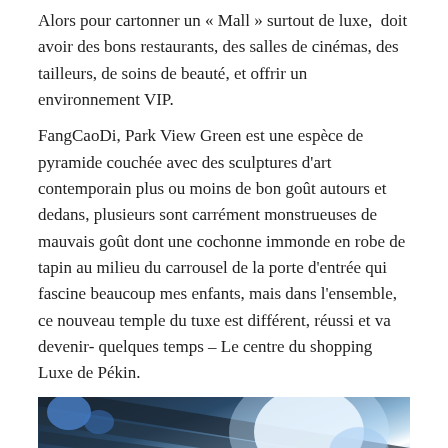Alors pour cartonner un « Mall » surtout de luxe,  doit avoir des bons restaurants, des salles de cinémas, des tailleurs, de soins de beauté, et offrir un environnement VIP.
FangCaoDi, Park View Green est une espèce de pyramide couchée avec des sculptures d'art contemporain plus ou moins de bon goût autours et dedans, plusieurs sont carrément monstrueuses de mauvais goût dont une cochonne immonde en robe de tapin au milieu du carrousel de la porte d'entrée qui fascine beaucoup mes enfants, mais dans l'ensemble, ce nouveau temple du tuxe est différent, réussi et va devenir- quelques temps – Le centre du shopping Luxe de Pékin.
[Figure (photo): Interior photo of FangCaoDi Park View Green mall showing ceiling beams with lighting and foliage in foreground]